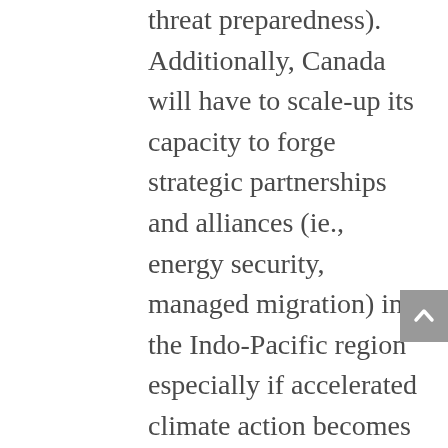threat preparedness). Additionally, Canada will have to scale-up its capacity to forge strategic partnerships and alliances (ie., energy security, managed migration) in the Indo-Pacific region especially if accelerated climate action becomes part of the “new normal” in a make-or-break decade (2020-2030).
Japanese Prime Minister Shinzo Abe has been particularly